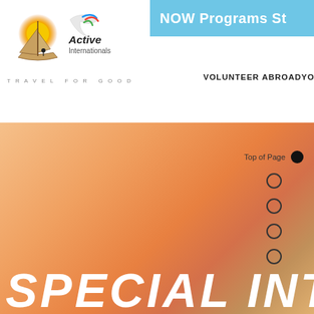[Figure (logo): Active Internationals logo with sailboat, sun, and dove motif, text 'Active Internationals' and tagline 'TRAVEL FOR GOOD']
NOW Programs St
VOLUNTEER ABROAD    YO
[Figure (infographic): Orange/peach gradient hero background with page navigation dots on the right side. First dot is filled (Top of Page), four are empty circles below it.]
SPECIAL INT